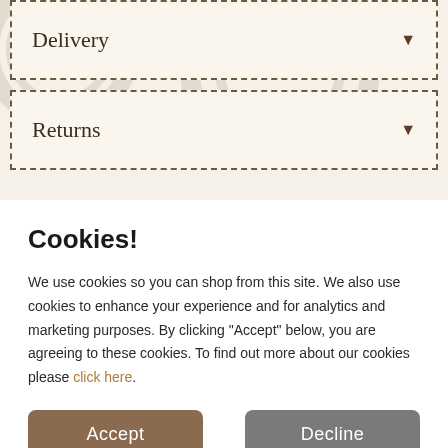Delivery
Returns
Cookies!
We use cookies so you can shop from this site. We also use cookies to enhance your experience and for analytics and marketing purposes. By clicking "Accept" below, you are agreeing to these cookies. To find out more about our cookies please click here.
Accept
Decline